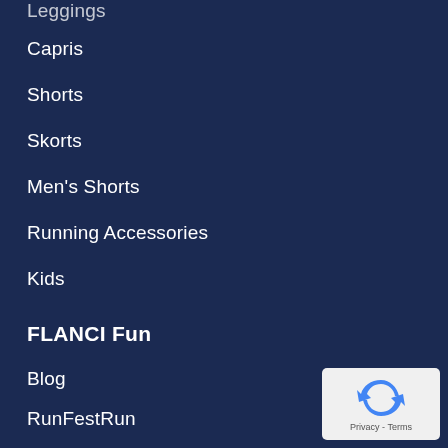Leggings
Capris
Shorts
Skorts
Men's Shorts
Running Accessories
Kids
FLANCI Fun
Blog
RunFestRun
National Running Show 2020
[Figure (logo): reCAPTCHA privacy badge with blue recycling-style arrows icon and Privacy - Terms text]